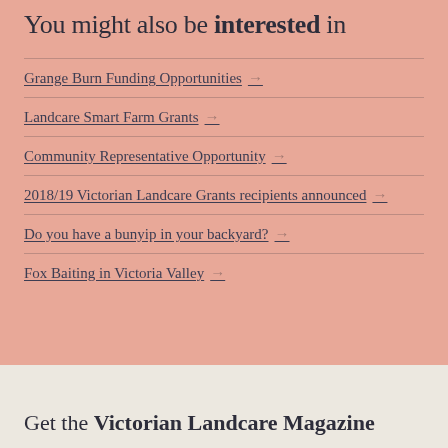You might also be interested in
Grange Burn Funding Opportunities →
Landcare Smart Farm Grants →
Community Representative Opportunity →
2018/19 Victorian Landcare Grants recipients announced →
Do you have a bunyip in your backyard? →
Fox Baiting in Victoria Valley →
Get the Victorian Landcare Magazine